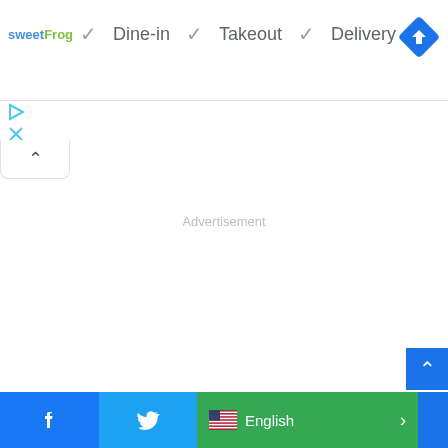[Figure (logo): sweetFrog logo with blue 'sweet' and green 'Frog' text]
✓ Dine-in   ✓ Takeout   ✓ Delivery
[Figure (other): Blue diamond navigation/directions icon with right-turn arrow]
[Figure (other): Small play icon and X icon in cyan/blue]
[Figure (other): Collapse/expand tab with up caret (^)]
Advertisement
[Figure (other): Blue scroll-to-top button with up caret]
[Figure (other): Bottom navigation bar: Facebook (blue), Twitter (light blue), English language selector (green) with US flag, and additional blue button]